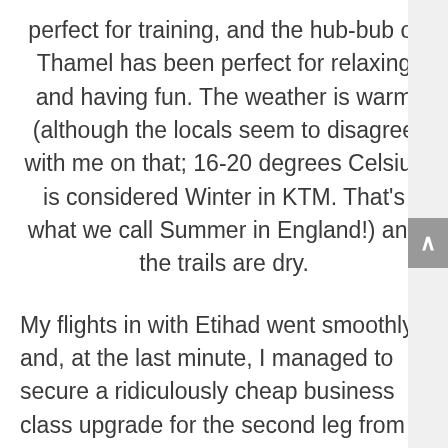perfect for training, and the hub-bub of Thamel has been perfect for relaxing and having fun. The weather is warm (although the locals seem to disagree with me on that; 16-20 degrees Celsius is considered Winter in KTM. That’s what we call Summer in England!) and the trails are dry.
My flights in with Etihad went smoothly and, at the last minute, I managed to secure a ridiculously cheap business class upgrade for the second leg from Abu Dhabi to KTM. Talk about luxury! It was my first, and most probably last...